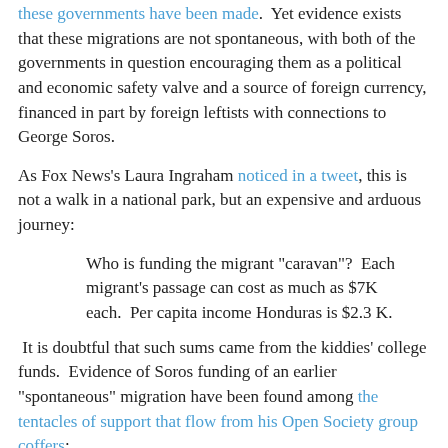these governments have been made. Yet evidence exists that these migrations are not spontaneous, with both of the governments in question encouraging them as a political and economic safety valve and a source of foreign currency, financed in part by foreign leftists with connections to George Soros.
As Fox News's Laura Ingraham noticed in a tweet, this is not a walk in a national park, but an expensive and arduous journey:
Who is funding the migrant "caravan"?  Each migrant's passage can cost as much as $7K each.  Per capita income Honduras is $2.3 K.
It is doubtful that such sums came from the kiddies' college funds.  Evidence of Soros funding of an earlier "spontaneous" migration have been found among the tentacles of support that flow from his Open Society group coffers:
Leftist billionaire George Soros is